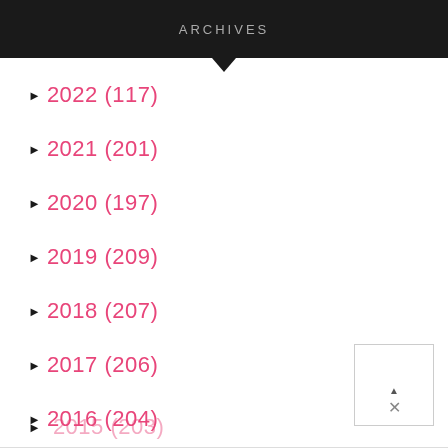ARCHIVES
► 2022 (117)
► 2021 (201)
► 2020 (197)
► 2019 (209)
► 2018 (207)
► 2017 (206)
► 2016 (204)
► 2015 (203)